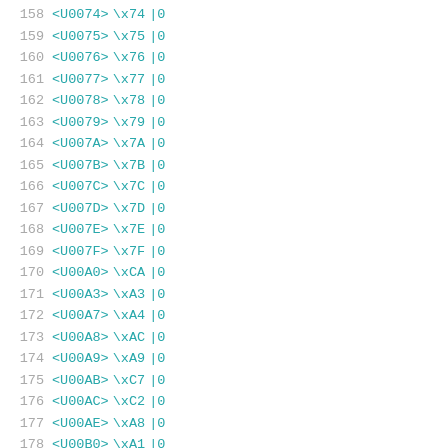| Line | Unicode | Hex | Value |
| --- | --- | --- | --- |
| 158 | <U0074> | \x74 | |0 |
| 159 | <U0075> | \x75 | |0 |
| 160 | <U0076> | \x76 | |0 |
| 161 | <U0077> | \x77 | |0 |
| 162 | <U0078> | \x78 | |0 |
| 163 | <U0079> | \x79 | |0 |
| 164 | <U007A> | \x7A | |0 |
| 165 | <U007B> | \x7B | |0 |
| 166 | <U007C> | \x7C | |0 |
| 167 | <U007D> | \x7D | |0 |
| 168 | <U007E> | \x7E | |0 |
| 169 | <U007F> | \x7F | |0 |
| 170 | <U00A0> | \xCA | |0 |
| 171 | <U00A3> | \xA3 | |0 |
| 172 | <U00A7> | \xA4 | |0 |
| 173 | <U00A8> | \xAC | |0 |
| 174 | <U00A9> | \xA9 | |0 |
| 175 | <U00AB> | \xC7 | |0 |
| 176 | <U00AC> | \xC2 | |0 |
| 177 | <U00AE> | \xA8 | |0 |
| 178 | <U00B0> | \xA1 | |0 |
| 179 | <U00B6> | \xA6 | |0 |